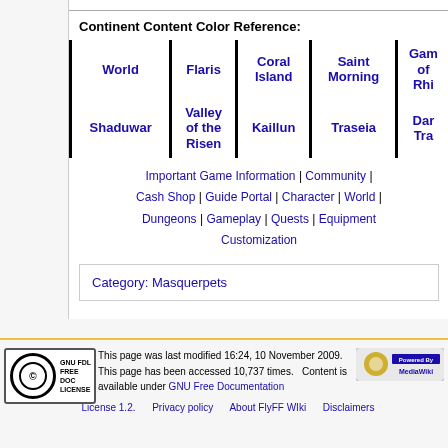Continent Content Color Reference:
| World | Flaris | Coral Island | Saint Morning | Gam of Rhi |
| --- | --- | --- | --- | --- |
| Shaduwar | Valley of the Risen | Kaillun | Traseia | Dar Tra |
Important Game Information | Community | Cash Shop | Guide Portal | Character | World | Dungeons | Gameplay | Quests | Equipment Customization
Category: Masquerpets
This page was last modified 16:24, 10 November 2009. This page has been accessed 10,737 times. Content is available under GNU Free Documentation License 1.2. Privacy policy About FlyFF WIki Disclaimers